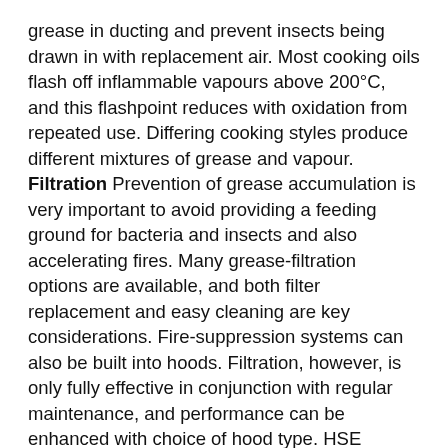grease in ducting and prevent insects being drawn in with replacement air. Most cooking oils flash off inflammable vapours above 200°C, and this flashpoint reduces with oxidation from repeated use. Differing cooking styles produce different mixtures of grease and vapour. Filtration Prevention of grease accumulation is very important to avoid providing a feeding ground for bacteria and insects and also accelerating fires. Many grease-filtration options are available, and both filter replacement and easy cleaning are key considerations. Fire-suppression systems can also be built into hoods. Filtration, however, is only fully effective in conjunction with regular maintenance, and performance can be enhanced with choice of hood type. HSE recommends a kitchen ventilation rate of at least 17.5 l/s/m2 of floor area, or 30 air changes per hour. This is fine in summer but not in winter, when more controllable ventilation may be desired. A basic hood will extract a given volume of fume-laden air, together with its heat. Induction hoods